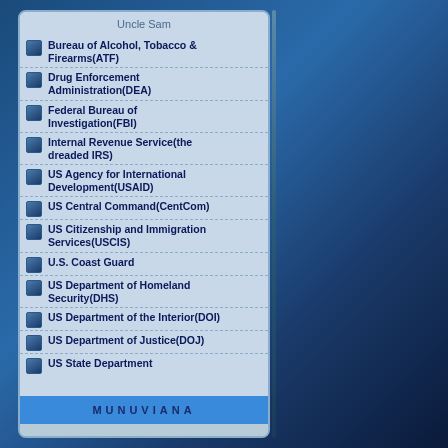Uncle Sam
Bureau of Alcohol, Tobacco & Firearms(ATF)
Drug Enforcement Administration(DEA)
Federal Bureau of Investigation(FBI)
Internal Revenue Service(the dreaded IRS)
US Agency for International Development(USAID)
US Central Command(CentCom)
US Citizenship and Immigration Services(USCIS)
U.S. Coast Guard
US Department of Homeland Security(DHS)
US Department of the Interior(DOI)
US Department of Justice(DOJ)
US State Department
MUNUVIANA